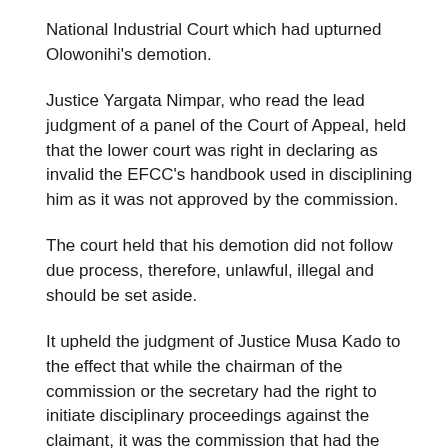National Industrial Court which had upturned Olowonihi's demotion.
Justice Yargata Nimpar, who read the lead judgment of a panel of the Court of Appeal, held that the lower court was right in declaring as invalid the EFCC's handbook used in disciplining him as it was not approved by the commission.
The court held that his demotion did not follow due process, therefore, unlawful, illegal and should be set aside.
It upheld the judgment of Justice Musa Kado to the effect that while the chairman of the commission or the secretary had the right to initiate disciplinary proceedings against the claimant, it was the commission that had the power to sanction after due consultation with the Federal Civil Service Commission.